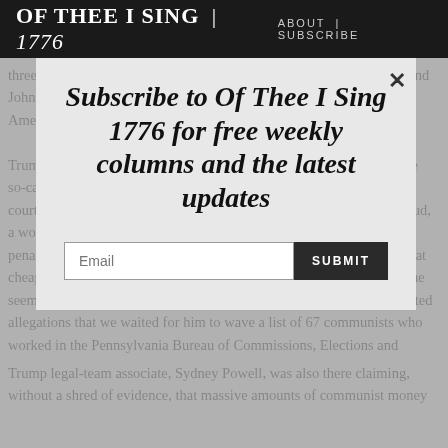OF THEE I SING | 1776   ABOUT | SUBSCRIBE
three candidates for President (John Breckinridge, Stephen Douglas, and John Bell) lost to Abraham Lincoln, causing confederate revilers of an American election to attempt to destroy the nation.
Trump's lawyer and anointed consigliere, Rudy Giuliani, is leading the so-called legal performance Friday when Giuliani demanded that the court grant Trump a fishing license to search for so-called election fraud, a word the Trump's legal hit squad eschews because there are still penalties for lying. Giuliani offered evidence of nothing other than what cheap hair coloring does under the heat of floodlights. So closely did he seem to be channeling the late Joseph McCarthy with his unsubstantiated allegations that we waited for him to wave a list of 67 communists who worked in the Pennsylvania Bureau of Commissions, Elections and Legislation, which oversees the Commonwealth's electoral process. Instead, he channeled Cousin Vinnie.
Subscribe to Of Thee I Sing 1776 for free weekly columns and the latest updates
Email
SUBMIT
Trump legal-team associate, Sydney Powell, was also there claiming, without a shred of evidence, that massive amounts of communist money